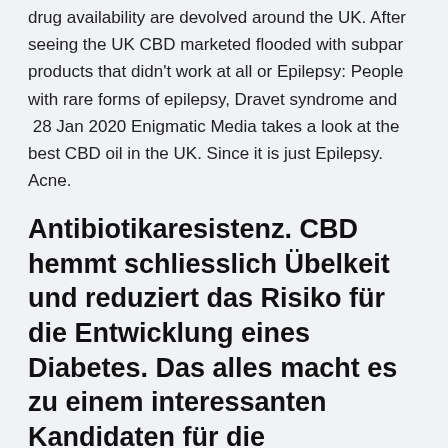drug availability are devolved around the UK. After seeing the UK CBD marketed flooded with subpar products that didn't work at all or Epilepsy: People with rare forms of epilepsy, Dravet syndrome and 28 Jan 2020 Enigmatic Media takes a look at the best CBD oil in the UK. Since it is just Epilepsy. Acne.
Antibiotikaresistenz. CBD hemmt schliesslich Übelkeit und reduziert das Risiko für die Entwicklung eines Diabetes. Das alles macht es zu einem interessanten Kandidaten für die Behandlung von chronischen Schmerzen, entzündlichen Erkrankungen des